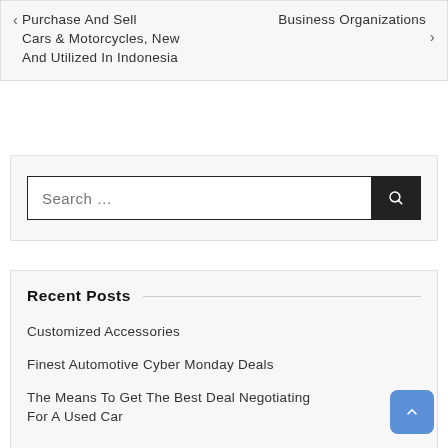< Purchase And Sell Cars & Motorcycles, New And Utilized In Indonesia   Business Organizations >
[Figure (screenshot): Search bar with text input field and dark search button with magnifying glass icon]
Recent Posts
Customized Accessories
Finest Automotive Cyber Monday Deals
The Means To Get The Best Deal Negotiating For A Used Car